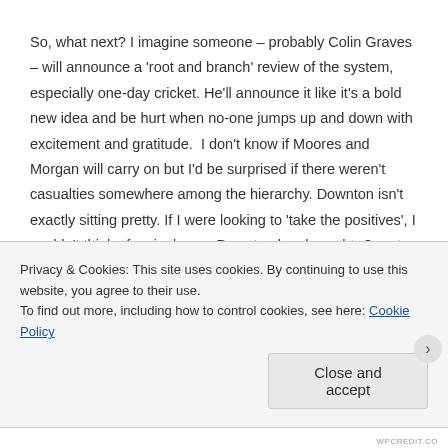So, what next? I imagine someone – probably Colin Graves – will announce a 'root and branch' review of the system, especially one-day cricket. He'll announce it like it's a bold new idea and be hurt when no-one jumps up and down with excitement and gratitude. I don't know if Moores and Morgan will carry on but I'd be surprised if there weren't casualties somewhere among the hierarchy. Downton isn't exactly sitting pretty. If I were looking to 'take the positives', I couldn't think of a single one Downton has brought. County one-day cricket will have to change, I think.
Privacy & Cookies: This site uses cookies. By continuing to use this website, you agree to their use.
To find out more, including how to control cookies, see here: Cookie Policy
Close and accept